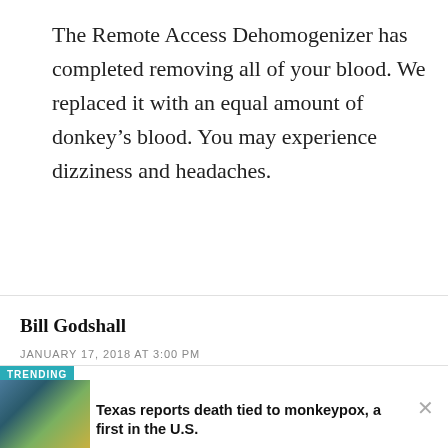The Remote Access Dehomogenizer has completed removing all of your blood. We replaced it with an equal amount of donkey’s blood. You may experience dizziness and headaches.
Bill Godshall
JANUARY 17, 2018 AT 3:00 PM
I suspect the decline in vaccinations is largely due to growing distrust of public health officials, most of whom are more interested in
TRENDING
Texas reports death tied to monkeypox, a first in the U.S.